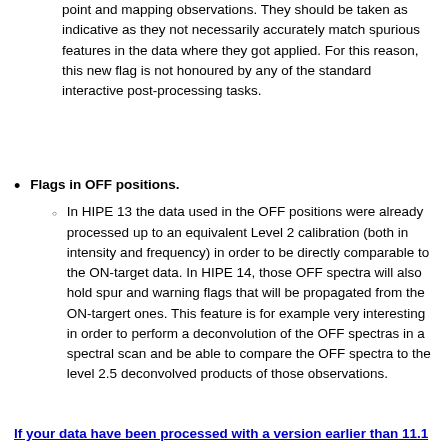point and mapping observations. They should be taken as indicative as they not necessarily accurately match spurious features in the data where they got applied. For this reason, this new flag is not honoured by any of the standard interactive post-processing tasks.
Flags in OFF positions.
In HIPE 13 the data used in the OFF positions were already processed up to an equivalent Level 2 calibration (both in intensity and frequency) in order to be directly comparable to the ON-target data. In HIPE 14, those OFF spectra will also hold spur and warning flags that will be propagated from the ON-targert ones. This feature is for example very interesting in order to perform a deconvolution of the OFF spectras in a spectral scan and be able to compare the OFF spectra to the level 2.5 deconvolved products of those observations.
If your data have been processed with a version earlier than 11.1